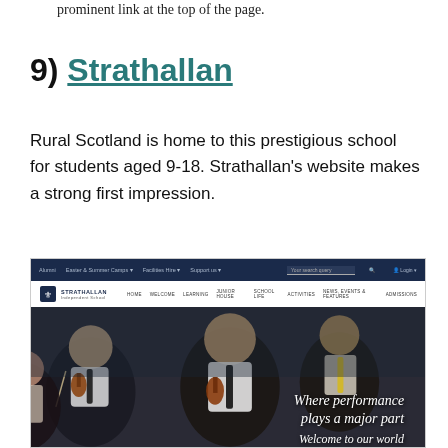prominent link at the top of the page.
9) Strathallan
Rural Scotland is home to this prestigious school for students aged 9-18. Strathallan's website makes a strong first impression.
[Figure (screenshot): Screenshot of the Strathallan school website showing a dark navy top navigation bar with links (Alumni, Easter & Summer Camps, Facilities Hire, Support us) and a search bar and Login button, below that a white logo bar with the Strathallan crest and main navigation links (HOME, WELCOME, LEARNING, JUNIOR HOUSE, SCHOOL LIFE, ACTIVITIES, NEWS EVENTS & FEATURES, ADMISSIONS), and a large hero image of students playing violin in an orchestra with the overlaid text 'Where performance plays a major part / Welcome to our world']